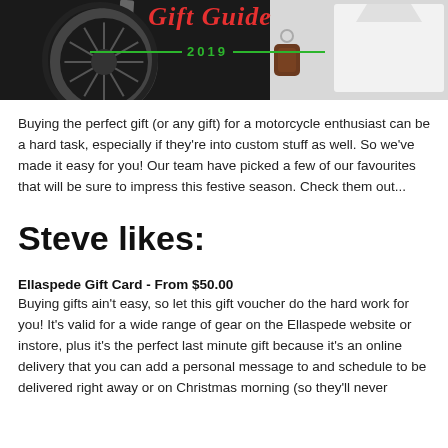[Figure (photo): Gift Guide 2019 banner image showing a motorcycle wheel and fork on the left, a key fob in the middle, and a white t-shirt on the right, with red cursive 'Gift Guide' text and green '2019' below it]
Buying the perfect gift (or any gift) for a motorcycle enthusiast can be a hard task, especially if they're into custom stuff as well. So we've made it easy for you! Our team have picked a few of our favourites that will be sure to impress this festive season. Check them out...
Steve likes:
Ellaspede Gift Card - From $50.00
Buying gifts ain't easy, so let this gift voucher do the hard work for you! It's valid for a wide range of gear on the Ellaspede website or instore, plus it's the perfect last minute gift because it's an online delivery that you can add a personal message to and schedule to be delivered right away or on Christmas morning (so they'll never